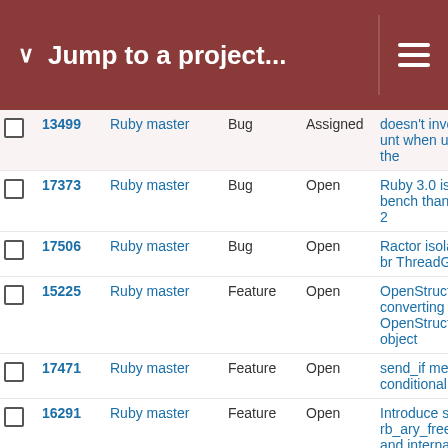Jump to a project...
|  | # | Project | Type | Status | Title |
| --- | --- | --- | --- | --- | --- |
|  | 13499 | Ruby master | Bug | Assigned | doesn't invoke unt when used on the |
|  | 17373 | Ruby master | Bug | Open | Ruby 3.0 is slowe bench than Ruby 2 |
|  | 17506 | Ruby master | Bug | Open | Ractor isolation br ThreadGroup |
|  | 15225 | Ruby master | Feature | Open | OpenStruct: Recu converting child H OpenStruct object |
|  | 17471 | Ruby master | Feature | Open | send_if method fo conditional chaini |
|  | 16291 | Ruby master | Feature | Open | Introduce support rb_ary_freeze and internal use of rb_ and rb_str_freeze Array types |
|  | 17393 | Ruby master | Feature | Open | `Ractor::Moved#ir |
|  | 17337 | Ruby master | Bug | Open | Don't embed Ruby configuration in Ru |
|  | 17414 | Ruby master | Feature | Open | Ractor should allo shareable attribute |